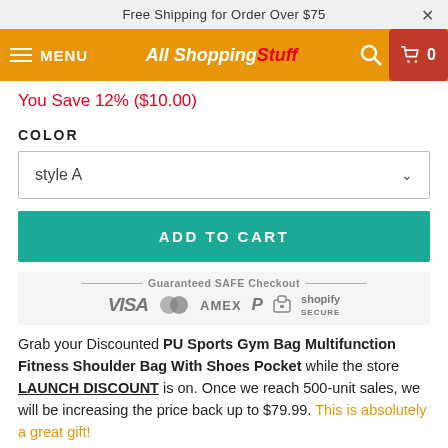Free Shipping for Order Over $75
[Figure (screenshot): Navigation bar with hamburger menu, MENU text, AllShoppingStuff logo, search icon, and cart with 0 items on orange background]
You Save 12% ($10.00)
COLOR
style A
ADD TO CART
[Figure (infographic): Guaranteed SAFE Checkout banner with VISA, Mastercard, AMEX, PayPal, lock icon, and Shopify Secure logos]
Grab your Discounted PU Sports Gym Bag Multifunction Fitness Shoulder Bag With Shoes Pocket while the store LAUNCH DISCOUNT is on. Once we reach 500-unit sales, we will be increasing the price back up to $79.99. This is absolutely a great gift!